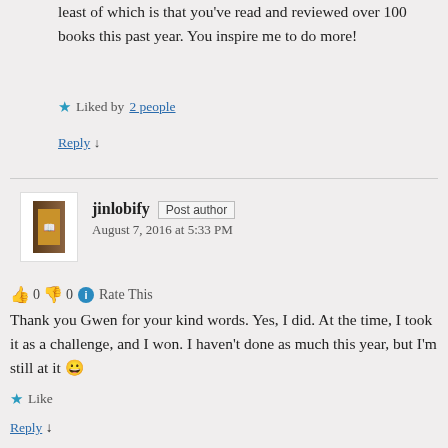least of which is that you've read and reviewed over 100 books this past year. You inspire me to do more!
Liked by 2 people
Reply ↓
jinlobify Post author August 7, 2016 at 5:33 PM
👍 0 👎 0 ℹ Rate This
Thank you Gwen for your kind words. Yes, I did. At the time, I took it as a challenge, and I won. I haven't done as much this year, but I'm still at it 😀
Like
Reply ↓